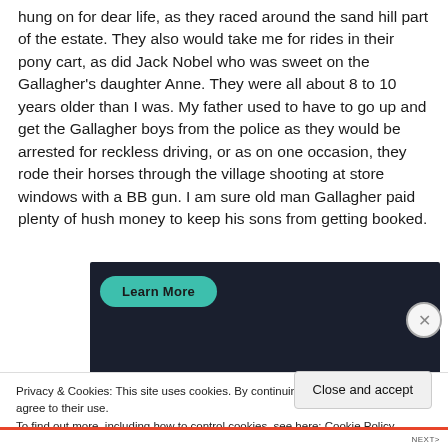hung on for dear life, as they raced around the sand hill part of the estate. They also would take me for rides in their pony cart, as did Jack Nobel who was sweet on the Gallagher’s daughter Anne. They were all about 8 to 10 years older than I was. My father used to have to go up and get the Gallagher boys from the police as they would be arrested for reckless driving, or as on one occasion, they rode their horses through the village shooting at store windows with a BB gun. I am sure old man Gallagher paid plenty of hush money to keep his sons from getting booked.
[Figure (other): Dark advertisement banner with a teal 'Learn More' button]
Privacy & Cookies: This site uses cookies. By continuing to use this website, you agree to their use.
To find out more, including how to control cookies, see here: Cookie Policy
Close and accept